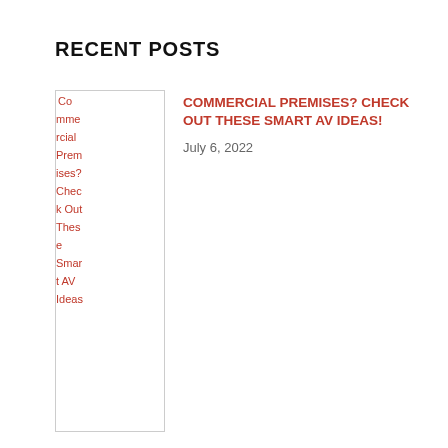RECENT POSTS
[Figure (photo): Thumbnail image for post: Commercial Premises? Check Out These Smart AV Ideas! — broken/loading image shown as alt text]
COMMERCIAL PREMISES? CHECK OUT THESE SMART AV IDEAS!
July 6, 2022